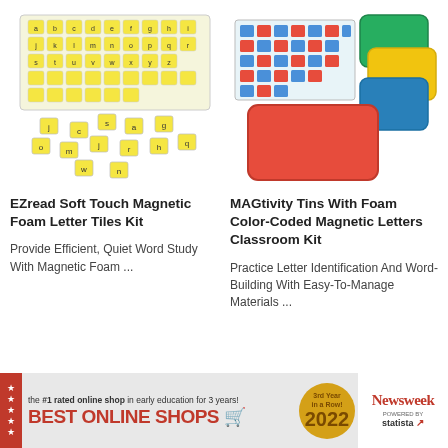[Figure (photo): EZread Soft Touch Magnetic Foam Letter Tiles Kit - yellow foam letter tiles in a clear organizer box with extra tiles scattered in front]
[Figure (photo): MAGtivity Tins With Foam Color-Coded Magnetic Letters Classroom Kit - magnetic letter tiles in a tray with colorful red, blue, yellow, and green tin containers]
EZread Soft Touch Magnetic Foam Letter Tiles Kit
MAGtivity Tins With Foam Color-Coded Magnetic Letters Classroom Kit
Provide Efficient, Quiet Word Study With Magnetic Foam ...
Practice Letter Identification And Word-Building With Easy-To-Manage Materials ...
the #1 rated online shop in early education for 3 years! BEST ONLINE SHOPS 2022 3rd Year in a Row! Newsweek powered by statista